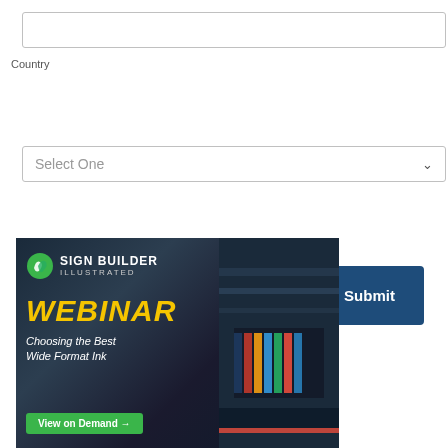[Figure (screenshot): Empty text input field with light gray border]
Country
[Figure (screenshot): Dropdown select field showing 'Select One' placeholder with chevron arrow on the right]
[Figure (screenshot): Submit button with dark navy blue background and white bold text reading 'Submit']
[Figure (infographic): Advertisement for Sign Builder Illustrated Webinar: 'Choosing the Best Wide Format Ink' with a 'View on Demand' green button, showing a wide format printer in the background. Has an X close button in the top right corner.]